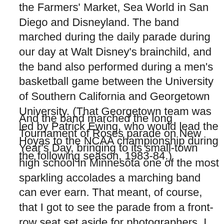the Farmers' Market, Sea World in San Diego and Disneyland. The band marched during the daily parade during our day at Walt Disney's brainchild, and the band also performed during a men's basketball game between the University of Southern California and Georgetown University. (That Georgetown team was led by Patrick Ewing, who would lead the Hoyas to the NCAA championship during the following season, 1983-84.)
And the band marched the long Tournament of Roses parade on New Year's Day, bringing to its small-town high school in Minnesota one of the most sparkling accolades a marching band can ever earn. That meant, of course, that I got to see the parade from a front-row seat set aside for photographers. I had to work – getting as many shots as I could – during the forty-five or so seconds it took the Monticello band to march past my position. Other than